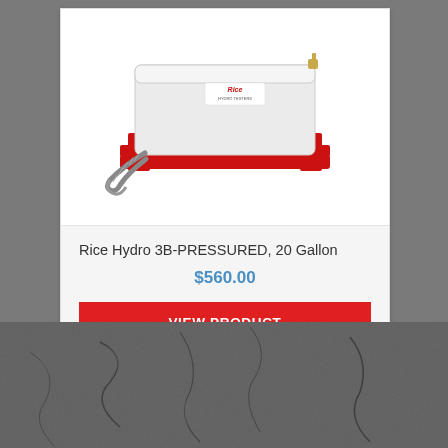[Figure (photo): Rice Hydro 3B-PRESSURED 20 Gallon unit: a white rectangular tank on a red metal frame/skid, with a grey flexible conduit attached]
Rice Hydro 3B-PRESSURED, 20 Gallon
$560.00
VIEW PRODUCT
[Figure (photo): Dark grey textured stone or asphalt surface background]